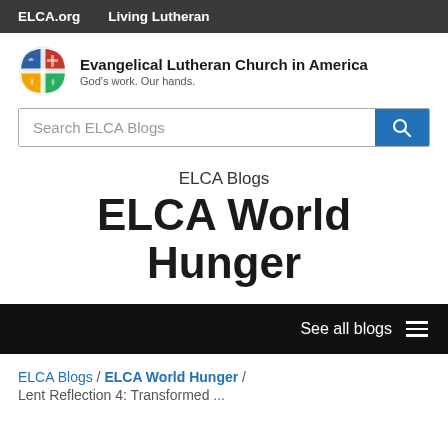ELCA.org   Living Lutheran
[Figure (logo): ELCA cross/globe logo with colorful quadrants]
Evangelical Lutheran Church in America
God's work. Our hands.
Search ELCA Blogs
ELCA Blogs
ELCA World Hunger
See all blogs
ELCA Blogs / ELCA World Hunger /
Lent Reflection 4: Transformed ...